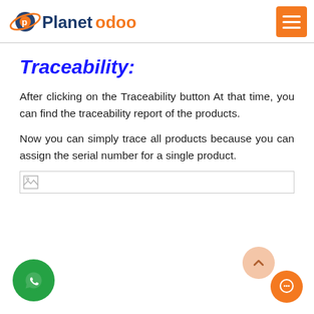Planetodoo
Traceability:
After clicking on the Traceability button At that time, you can find the traceability report of the products.
Now you can simply trace all products because you can assign the serial number for a single product.
[Figure (photo): Broken image placeholder at the bottom of the content area]